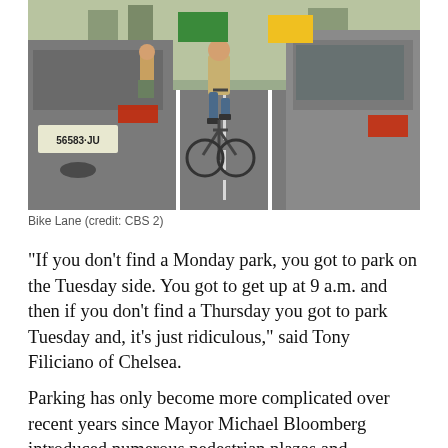[Figure (photo): A cyclist riding a bicycle in a dedicated bike lane on a city street flanked by vehicles including vans and cars. License plate 56583 JU visible on left van.]
Bike Lane (credit: CBS 2)
"If you don't find a Monday park, you got to park on the Tuesday side. You got to get up at 9 a.m. and then if you don't find a Thursday you got to park Tuesday and, it's just ridiculous," said Tony Filiciano of Chelsea.
Parking has only become more complicated over recent years since Mayor Michael Bloomberg introduced numerous pedestrian plazas and